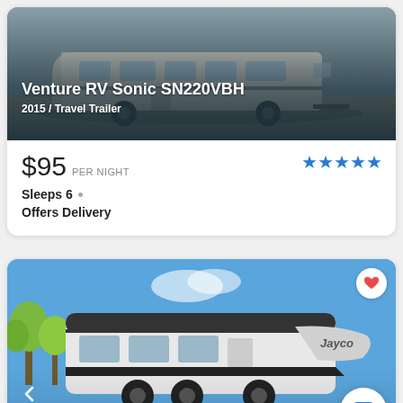[Figure (photo): Venture RV Sonic SN220VBH travel trailer parked outdoors, beige/cream colored, with dark blue gradient overlay at bottom showing title text]
Venture RV Sonic SN220VBH
2015 / Travel Trailer
$95 PER NIGHT
Sleeps 6
Offers Delivery
[Figure (photo): Jayco travel trailer RV parked outdoors with blue sky and green trees in background, white and dark colored exterior with Jayco branding visible]